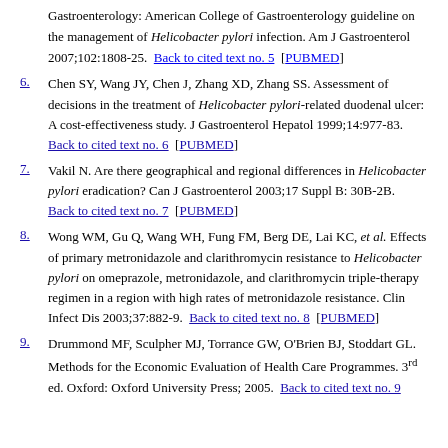Gastroenterology: American College of Gastroenterology guideline on the management of Helicobacter pylori infection. Am J Gastroenterol 2007;102:1808-25. Back to cited text no. 5 [PUBMED]
6. Chen SY, Wang JY, Chen J, Zhang XD, Zhang SS. Assessment of decisions in the treatment of Helicobacter pylori-related duodenal ulcer: A cost-effectiveness study. J Gastroenterol Hepatol 1999;14:977-83. Back to cited text no. 6 [PUBMED]
7. Vakil N. Are there geographical and regional differences in Helicobacter pylori eradication? Can J Gastroenterol 2003;17 Suppl B: 30B-2B. Back to cited text no. 7 [PUBMED]
8. Wong WM, Gu Q, Wang WH, Fung FM, Berg DE, Lai KC, et al. Effects of primary metronidazole and clarithromycin resistance to Helicobacter pylori on omeprazole, metronidazole, and clarithromycin triple-therapy regimen in a region with high rates of metronidazole resistance. Clin Infect Dis 2003;37:882-9. Back to cited text no. 8 [PUBMED]
9. Drummond MF, Sculpher MJ, Torrance GW, O'Brien BJ, Stoddart GL. Methods for the Economic Evaluation of Health Care Programmes. 3rd ed. Oxford: Oxford University Press; 2005. Back to cited text no. 9